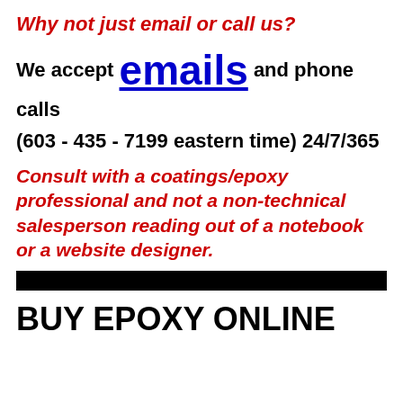Why not just email or call us?
We accept emails and phone calls
(603 - 435 - 7199 eastern time) 24/7/365
Consult with a coatings/epoxy professional and not a non-technical salesperson reading out of a notebook or a website designer.
BUY EPOXY ONLINE